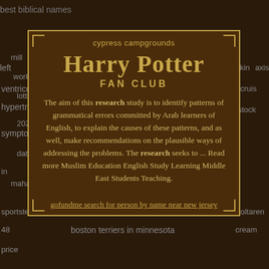best biblical names
left mill worker lottery hypertrophy 2022 symptoms date in maharashtra
axis big wild vikin cruis stock voltaren cream
sportster 48 boston terriers in minnesota price
cypress campgrounds
Harry Potter FAN CLUB
The aim of this research study is to identify patterns of grammatical errors committed by Arab learners of English, to explain the causes of these patterns, and as well, make recommendations on the plausible ways of addressing the problems. The research seeks to ... Read more Muslim Education English Study Learning Middle East Students Teaching.
gofundme search for person by name near new jersey